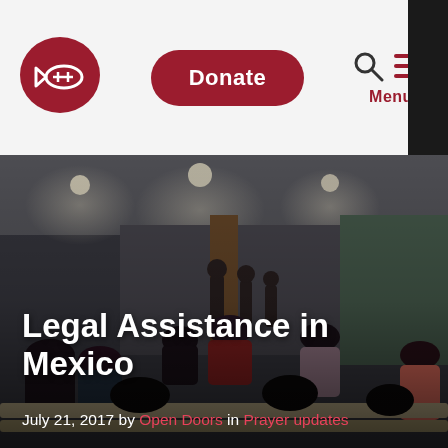[Figure (logo): Open Doors logo — red rounded shape with white fish and loaves icon]
Donate
[Figure (other): Search icon (magnifying glass) and hamburger menu icon with Menu label]
[Figure (photo): Interior of a church with people sitting in pews, facing a stage with musicians performing. Overhead recessed lighting. Wooden pillars visible.]
Legal Assistance in Mexico
July 21, 2017 by Open Doors in Prayer updates